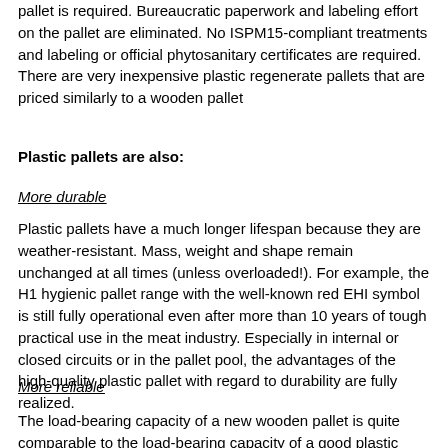pallet is required. Bureaucratic paperwork and labeling effort on the pallet are eliminated. No ISPM15-compliant treatments and labeling or official phytosanitary certificates are required. There are very inexpensive plastic regenerate pallets that are priced similarly to a wooden pallet
Plastic pallets are also:
More durable
Plastic pallets have a much longer lifespan because they are weather-resistant. Mass, weight and shape remain unchanged at all times (unless overloaded!). For example, the H1 hygienic pallet range with the well-known red EHI symbol is still fully operational even after more than 10 years of tough practical use in the meat industry. Especially in internal or closed circuits or in the pallet pool, the advantages of the high-quality plastic pallet with regard to durability are fully realized.
More reliable
The load-bearing capacity of a new wooden pallet is quite comparable to the load-bearing capacity of a good plastic pallet. Resilience